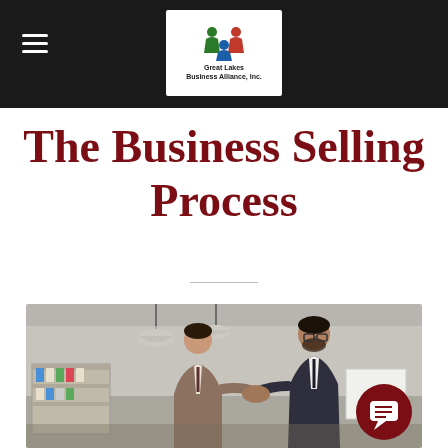Great Lakes Business Alliance, Inc.
The Business Selling Process
[Figure (photo): Two businessmen in suits shaking hands in a modern office with shelves, pendant lamps, and brick wall in background. A dark red chat bubble icon appears in bottom right corner.]